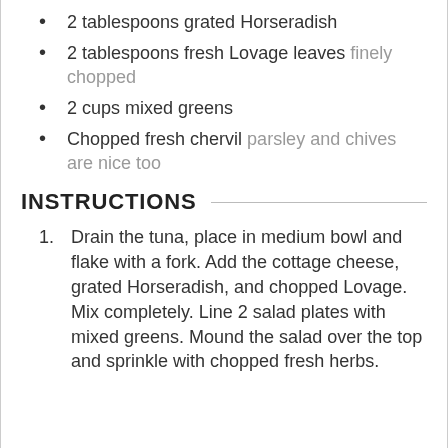2 tablespoons grated Horseradish
2 tablespoons fresh Lovage leaves finely chopped
2 cups mixed greens
Chopped fresh chervil parsley and chives are nice too
INSTRUCTIONS
Drain the tuna, place in medium bowl and flake with a fork. Add the cottage cheese, grated Horseradish, and chopped Lovage. Mix completely. Line 2 salad plates with mixed greens. Mound the salad over the top and sprinkle with chopped fresh herbs.